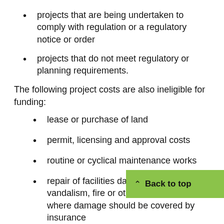projects that are being undertaken to comply with regulation or a regulatory notice or order
projects that do not meet regulatory or planning requirements.
The following project costs are also ineligible for funding:
lease or purchase of land
permit, licensing and approval costs
routine or cyclical maintenance works
repair of facilities damaged by vandalism, fire or other natural disasters where damage should be covered by insurance
operating or Business-as-usual costs (such as electricity, water and other utilities)